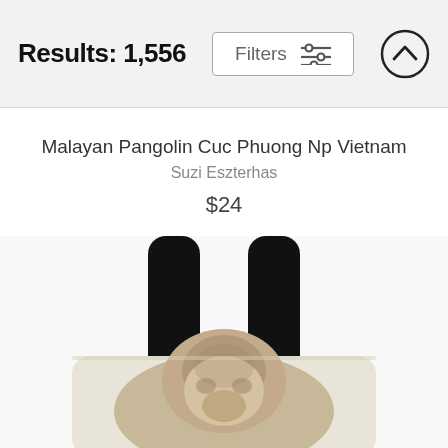Results: 1,556
Malayan Pangolin Cuc Phuong Np Vietnam
Suzi Eszterhas
$24
[Figure (photo): A tote bag with black straps featuring a photo of a Malayan Pangolin from Cuc Phuong National Park in Vietnam. The bag shows a close-up image of the pangolin with a blurred green background.]